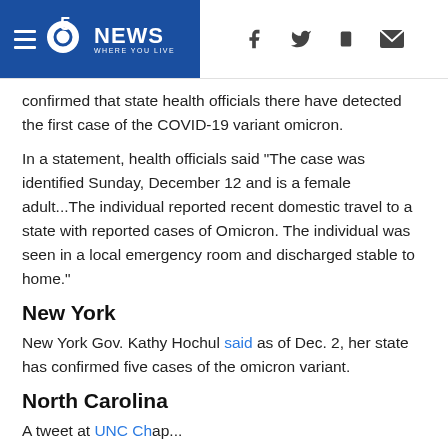5News WHERE YOU LIVE
confirmed that state health officials there have detected the first case of the COVID-19 variant omicron.
In a statement, health officials said "The case was identified Sunday, December 12 and is a female adult...The individual reported recent domestic travel to a state with reported cases of Omicron. The individual was seen in a local emergency room and discharged stable to home."
New York
New York Gov. Kathy Hochul said as of Dec. 2, her state has confirmed five cases of the omicron variant.
North Carolina
A tweet at UNC Chapel...